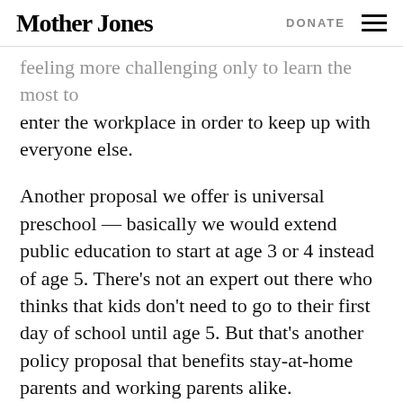Mother Jones | DONATE
…feeling more challenging only to learn the most to enter the workplace in order to keep up with everyone else.
Another proposal we offer is universal preschool — basically we would extend public education to start at age 3 or 4 instead of age 5. There's not an expert out there who thinks that kids don't need to go to their first day of school until age 5. But that's another policy proposal that benefits stay-at-home parents and working parents alike.